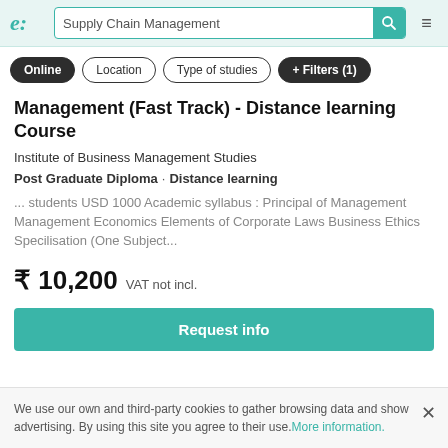e: Supply Chain Management [search bar] [hamburger menu]
Online
Location
Type of studies
+ Filters (1)
Management (Fast Track) - Distance learning Course
Institute of Business Management Studies
Post Graduate Diploma · Distance learning
... students USD 1000 Academic syllabus : Principal of Management Management Economics Elements of Corporate Laws Business Ethics Specilisation (One Subject...
₹ 10,200 VAT not incl.
Request info
We use our own and third-party cookies to gather browsing data and show advertising. By using this site you agree to their use. More information.